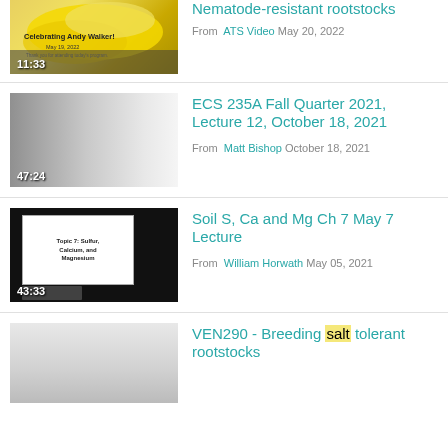[Figure (screenshot): Thumbnail for Nematode-resistant rootstocks video showing Celebrating Andy Walker slide with yellow/gold blobs, duration 11:33]
Nematode-resistant rootstocks
From ATS Video May 20, 2022
[Figure (screenshot): Thumbnail for ECS 235A Fall Quarter 2021 Lecture 12 video, gray gradient, duration 47:24]
ECS 235A Fall Quarter 2021, Lecture 12, October 18, 2021
From Matt Bishop October 18, 2021
[Figure (screenshot): Thumbnail for Soil S Ca and Mg Ch 7 May 7 Lecture showing Topic 7: Sulfur, Calcium, and Magnesium slide, duration 43:33]
Soil S, Ca and Mg Ch 7 May 7 Lecture
From William Horwath May 05, 2021
[Figure (screenshot): Thumbnail for VEN290 Breeding salt tolerant rootstocks video, gray gradient, partial view]
VEN290 - Breeding salt tolerant rootstocks